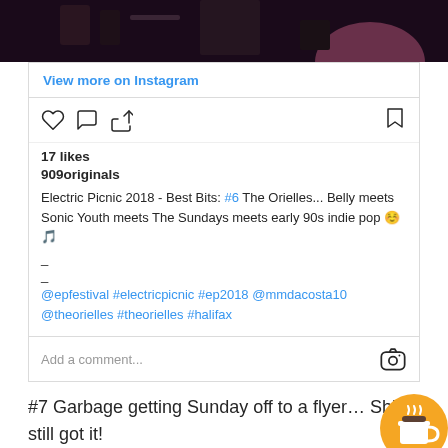[Figure (photo): Dark photo top portion showing a venue interior with silhouettes]
View more on Instagram
[Figure (infographic): Instagram action bar with like, comment, share, and save icons]
17 likes
909originals
Electric Picnic 2018 - Best Bits: #6 The Orielles... Belly meets Sonic Youth meets The Sundays meets early 90s indie pop 😊🎵
_
_
@epfestival #electricpicnic #ep2018 @mmdacosta10 @theorielles #theorielles #halifax
[Figure (infographic): Instagram comment bar with camera icon]
#7 Garbage getting Sunday off to a flyer… Shi still got it!